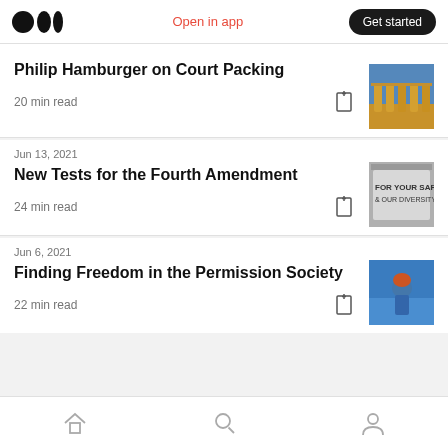Medium logo | Open in app | Get started
Philip Hamburger on Court Packing
20 min read
Jun 13, 2021
New Tests for the Fourth Amendment
24 min read
Jun 6, 2021
Finding Freedom in the Permission Society
22 min read
Home | Search | Profile